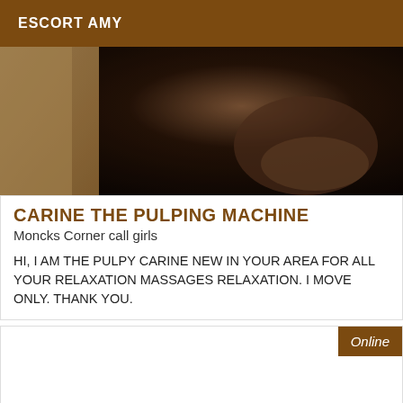ESCORT AMY
[Figure (photo): Close-up blurred dark photo, appears to show a person's hand or body in dim lighting with a wooden element visible]
CARINE THE PULPING MACHINE
Moncks Corner call girls
HI, I AM THE PULPY CARINE NEW IN YOUR AREA FOR ALL YOUR RELAXATION MASSAGES RELAXATION. I MOVE ONLY. THANK YOU.
Online